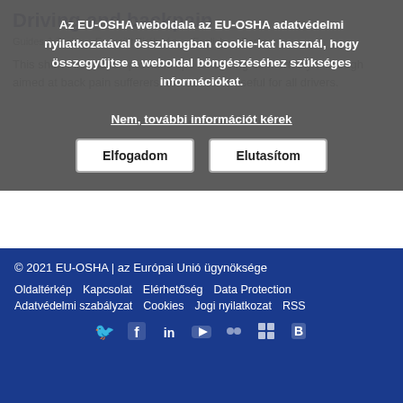Driving and backpain
Guides & Tools   Egyesült Királyság   English   Backcare
This short information provides tips for driving comfortably. Although aimed at back pain sufferers, the advice is useful for all drivers.
Az EU-OSHA weboldala az EU-OSHA adatvédelmi nyilatkozatával összhangban cookie-kat használ, hogy összegyűjtse a weboldal böngészéséhez szükséges információkat.
Nem, további információt kérek
Elfogadom   Elutasítom
További tudnivalók →
© 2021 EU-OSHA | az Európai Unió ügynöksége
Oldaltérkép   Kapcsolat   Elérhetőség   Data Protection
Adatvédelmi szabályzat   Cookies   Jogi nyilatkozat   RSS